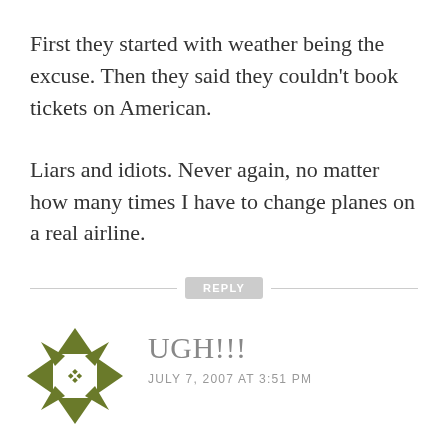First they started with weather being the excuse. Then they said they couldn't book tickets on American.
Liars and idiots. Never again, no matter how many times I have to change planes on a real airline.
REPLY
UGH!!!
JULY 7, 2007 AT 3:51 PM
In October of 2006, I won two NWA